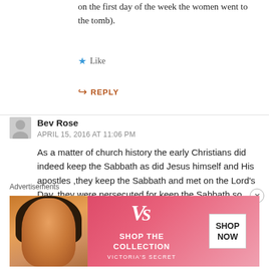on the first day of the week the women went to the tomb).
★ Like
↪ REPLY
Bev Rose
APRIL 15, 2016 AT 11:06 PM
As a matter of church history the early Christians did indeed keep the Sabbath as did Jesus himself and His apostles ,they keep the Sabbath and met on the Lord's Day, they were persecuted for keep the Sabbath so they met in secret , fact of history in the 1st century, Constantine himself hunted them down for keeping
Advertisements
[Figure (photo): Victoria's Secret advertisement banner with model, VS logo, 'SHOP THE COLLECTION' text, and 'SHOP NOW' button]